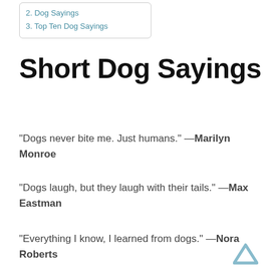2. Dog Sayings
3. Top Ten Dog Sayings
Short Dog Sayings
“Dogs never bite me. Just humans.” —Marilyn Monroe
“Dogs laugh, but they laugh with their tails.” —Max Eastman
“Everything I know, I learned from dogs.” —Nora Roberts